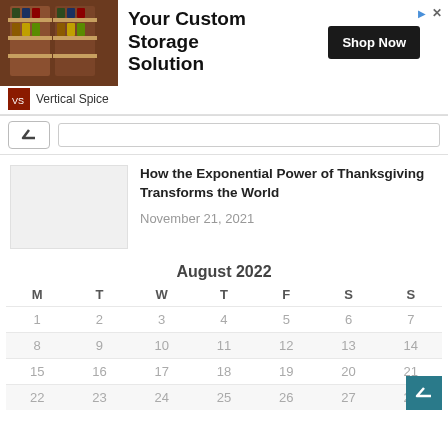[Figure (photo): Advertisement banner for Vertical Spice custom storage solution with spice rack image and Shop Now button]
Vertical Spice
[Figure (screenshot): Navigation bar with up arrow button and search bar]
[Figure (photo): Thumbnail image placeholder for article]
How the Exponential Power of Thanksgiving Transforms the World
November 21, 2021
August 2022
| M | T | W | T | F | S | S |
| --- | --- | --- | --- | --- | --- | --- |
| 1 | 2 | 3 | 4 | 5 | 6 | 7 |
| 8 | 9 | 10 | 11 | 12 | 13 | 14 |
| 15 | 16 | 17 | 18 | 19 | 20 | 21 |
| 22 | 23 | 24 | 25 | 26 | 27 | 28 |